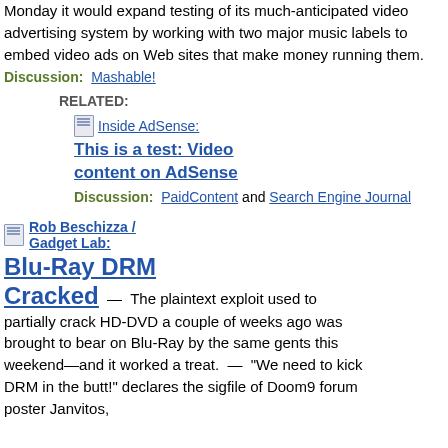Monday it would expand testing of its much-anticipated video advertising system by working with two major music labels to embed video ads on Web sites that make money running them.
Discussion: Mashable!
RELATED:
Inside AdSense:
This is a test: Video content on AdSense
Discussion: PaidContent and Search Engine Journal
Rob Beschizza / Gadget Lab:
Blu-Ray DRM Cracked
[Figure (illustration): Fantasy illustration showing an armored warrior figure on a barrel with a sword]
— The plaintext exploit used to partially crack HD-DVD a couple of weeks ago was brought to bear on Blu-Ray by the same gents this weekend—and it worked a treat. — "We need to kick DRM in the butt!" declares the sigfile of Doom9 forum poster Janvitos,